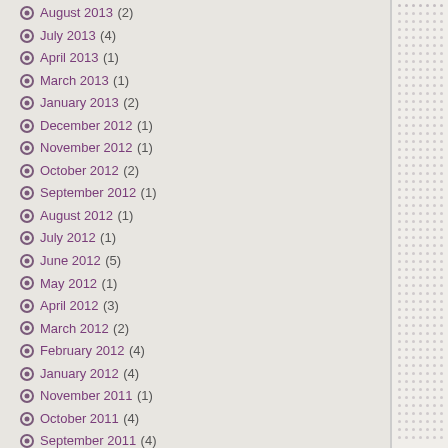August 2013 (2)
July 2013 (4)
April 2013 (1)
March 2013 (1)
January 2013 (2)
December 2012 (1)
November 2012 (1)
October 2012 (2)
September 2012 (1)
August 2012 (1)
July 2012 (1)
June 2012 (5)
May 2012 (1)
April 2012 (3)
March 2012 (2)
February 2012 (4)
January 2012 (4)
November 2011 (1)
October 2011 (4)
September 2011 (4)
August 2011 (1)
July 2011 (3)
June 2011 (2)
May 2011 (1)
April 2011 (2)
March 2011 (4)
February 2011 (3)
January 2011 (5)
October 2010 (4)
September 2010 (2)